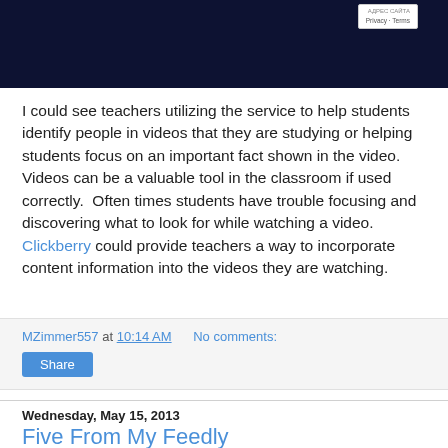[Figure (screenshot): Dark navy blue screenshot area with a small white popup box in the top right showing 'Privacy · Terms']
I could see teachers utilizing the service to help students identify people in videos that they are studying or helping students focus on an important fact shown in the video.  Videos can be a valuable tool in the classroom if used correctly.  Often times students have trouble focusing and discovering what to look for while watching a video.  Clickberry could provide teachers a way to incorporate content information into the videos they are watching.
MZimmer557 at 10:14 AM   No comments:
Share
Wednesday, May 15, 2013
Five From My Feedly